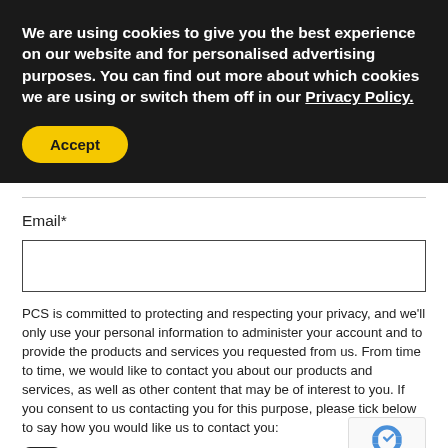We are using cookies to give you the best experience on our website and for personalised advertising purposes. You can find out more about which cookies we are using or switch them off in our Privacy Policy.
Accept
Email*
PCS is committed to protecting and respecting your privacy, and we'll only use your personal information to administer your account and to provide the products and services you requested from us. From time to time, we would like to contact you about our products and services, as well as other content that may be of interest to you. If you consent to us contacting you for this purpose, please tick below to say how you would like us to contact you:
I agree to receive other communications from
You can unsubscribe from these communications at any time.